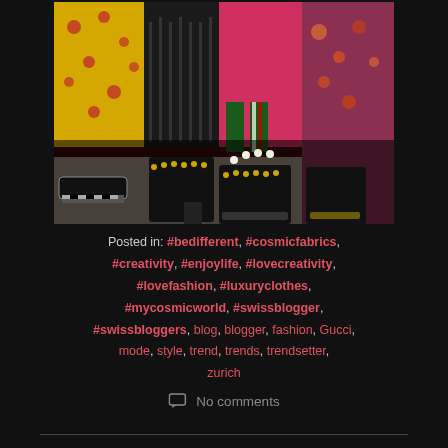[Figure (photo): Close-up photo of lower halves of four people wearing colorful outfits and decorative platform shoes. One person wears a yellow floral dress, another a pink coat with green pants, and another a floral jacket. All wear elaborate black platform shoes with embellishments.]
Posted in: #bedifferent, #cosmicfabrics, #creativity, #enjoylife, #lovecreativity, #lovefashion, #luxuryclothes, #mycosmicworld, #swissblogger, #swissbloggers, blog, blogger, fashion, Gucci, mode, style, trend, trends, trendsetter, zurich
No comments